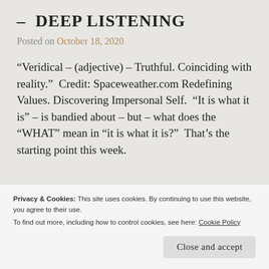– DEEP LISTENING
Posted on October 18, 2020
“Veridical – (adjective) – Truthful. Coinciding with reality.”  Credit: Spaceweather.com Redefining Values. Discovering Impersonal Self.  “It is what it is” – is bandied about – but – what does the “WHAT” mean in “it is what it is?”  That’s the starting point this week.
Privacy & Cookies: This site uses cookies. By continuing to use this website, you agree to their use. To find out more, including how to control cookies, see here: Cookie Policy
Close and accept